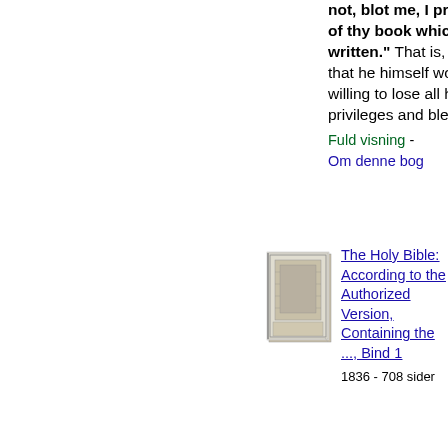not, blot me, I pray thee, out of thy book which thou hast written." That is, he declares that he himself would be willing to lose all his rights and privileges and blessings,...
Fuld visning - Om denne bog
[Figure (photo): Thumbnail image of the cover of The Holy Bible book]
The Holy Bible: According to the Authorized Version, Containing the ..., Bind 1
1836 - 708 sider